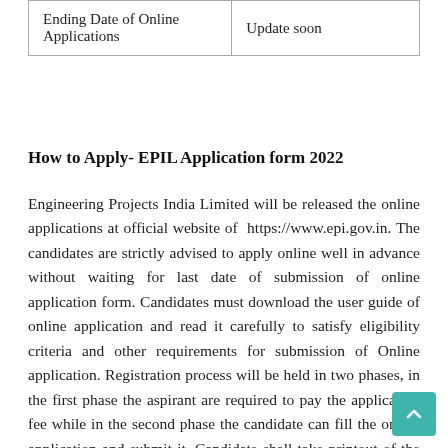| Ending Date of Online Applications | Update soon |
How to Apply- EPIL Application form 2022
Engineering Projects India Limited will be released the online applications at official website of https://www.epi.gov.in. The candidates are strictly advised to apply online well in advance without waiting for last date of submission of online application form. Candidates must download the user guide of online application and read it carefully to satisfy eligibility criteria and other requirements for submission of Online application. Registration process will be held in two phases, in the first phase the aspirant are required to pay the application fee while in the second phase the candidate can fill the online application and submit it. Candidate shall take printout of the application and store it for future reference. Application process step by step given below